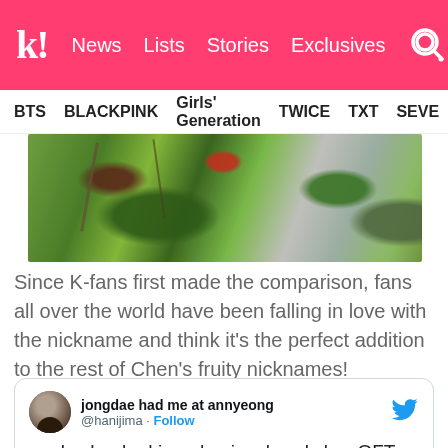k! News Lists Stories Exclusives
BTS BLACKPINK Girls' Generation TWICE TXT SEVE
[Figure (photo): Close-up photo of green leaves and red fruit/flowers with plastic sheeting in the background]
Since K-fans first made the comparison, fans all over the world have been falling in love with the nickname and think it's the perfect addition to the rest of Chen's fruity nicknames!
jongdae had me at annyeong @hanijima · Follow
apple cheeked jongdae jansksnsksks sOFT